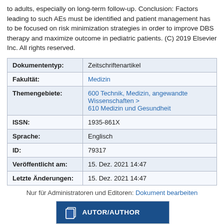to adults, especially on long-term follow-up. Conclusion: Factors leading to such AEs must be identified and patient management has to be focused on risk minimization strategies in order to improve DBS therapy and maximize outcome in pediatric patients. (C) 2019 Elsevier Inc. All rights reserved.
| Field | Value |
| --- | --- |
| Dokumententyp: | Zeitschriftenartikel |
| Fakultät: | Medizin |
| Themengebiete: | 600 Technik, Medizin, angewandte Wissenschaften > 610 Medizin und Gesundheit |
| ISSN: | 1935-861X |
| Sprache: | Englisch |
| ID: | 79317 |
| Veröffentlicht am: | 15. Dez. 2021 14:47 |
| Letzte Änderungen: | 15. Dez. 2021 14:47 |
Nur für Administratoren und Editoren: Dokument bearbeiten
[Figure (infographic): AUTOR/AUTHOR panel with blue header containing document icon and title, and beige body listing BASE and Google Scholar links with plus signs]